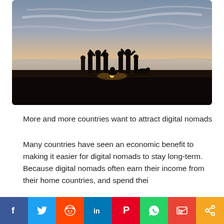[Figure (photo): Silhouettes of a group of people standing on a beach at sunset with a campfire, ocean in the background and colorful sky]
More and more countries want to attract digital nomads
Many countries have seen an economic benefit to making it easier for digital nomads to stay long-term. Because digital nomads often earn their income from their home countries, and spend thei…
[Figure (infographic): Social media sharing bar with buttons for Facebook, Twitter, Reddit, LinkedIn, Pinterest, WhatsApp, Gmail, and Share]